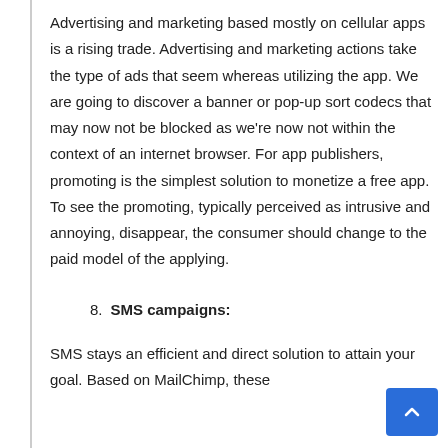Advertising and marketing based mostly on cellular apps is a rising trade. Advertising and marketing actions take the type of ads that seem whereas utilizing the app. We are going to discover a banner or pop-up sort codecs that may now not be blocked as we're now not within the context of an internet browser. For app publishers, promoting is the simplest solution to monetize a free app. To see the promoting, typically perceived as intrusive and annoying, disappear, the consumer should change to the paid model of the applying.
8. SMS campaigns:
SMS stays an efficient and direct solution to attain your goal. Based on MailChimp, these